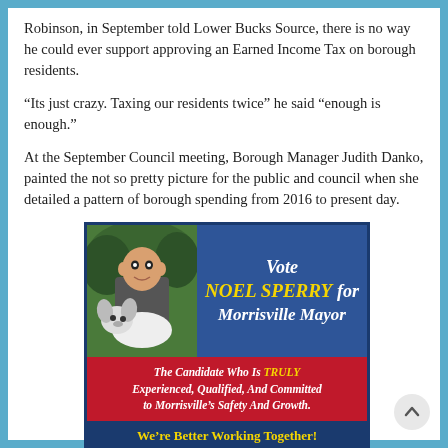Robinson, in September told Lower Bucks Source, there is no way he could ever support approving an Earned Income Tax on borough residents.
“Its just crazy. Taxing our residents twice” he said “enough is enough.”
At the September Council meeting, Borough Manager Judith Danko, painted the not so pretty picture for the public and council when she detailed a pattern of borough spending from 2016 to present day.
[Figure (other): Political campaign advertisement for Noel Sperry for Morrisville Mayor. Features a photo of a bald man with a white dog, dark blue background with yellow and white text reading 'Vote NOEL SPERRY for Morrisville Mayor', a red banner reading 'The Candidate Who Is TRULY Experienced, Qualified, And Committed to Morrisville’s Safety And Growth.' and a dark blue banner at the bottom reading 'We’re Better Working Together!']